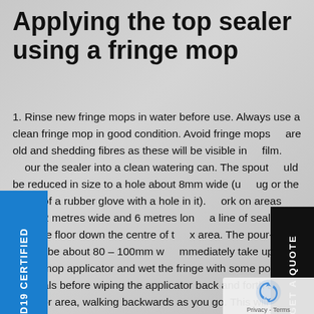Applying the top sealer using a fringe mop
1. Rinse new fringe mops in water before use. Always use a clean fringe mop in good condition. Avoid fringe mops are old and shedding fibres as these will be visible in film.
our the sealer into a clean watering can. The spout uld be reduced in size to a hole about 8mm wide (u ug or the finger of a rubber glove with a hole in it). ork on areas about 2 metres wide and 6 metres lon a line of sealer onto the floor down the centre of t x area. The pour-line should be about 80 – 100mm w mmediately take up the fringe mop applicator and wet the fringe with some polishing materials before wiping the applicator back and forth across the floor area, walking backwards as you go. This will spread the sealer from the pour-line right across the floor. Use a figure-eight m of over-lapping strokes with the applicator. Make su every part of the floor is coated: avoid leaving any bare